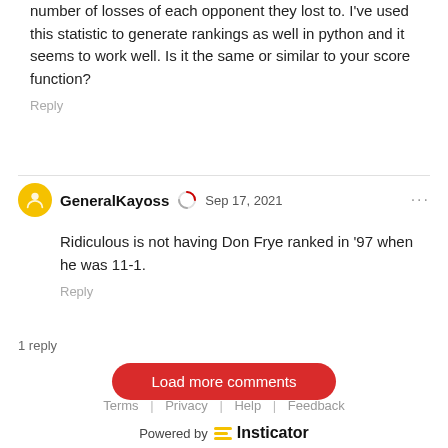number of losses of each opponent they lost to. I've used this statistic to generate rankings as well in python and it seems to work well. Is it the same or similar to your score function?
Reply
GeneralKayoss  Sep 17, 2021  ...
Ridiculous is not having Don Frye ranked in '97 when he was 11-1.
Reply
1 reply
Load more comments
Terms | Privacy | Help | Feedback
Powered by Insticator